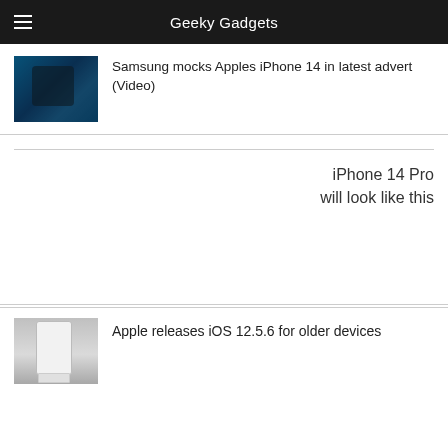Geeky Gadgets
Samsung mocks Apples iPhone 14 in latest advert (Video)
[Figure (photo): Thumbnail image of a smartphone in a dark blue/teal setting]
iPhone 14 Pro will look like this
[Figure (photo): Thumbnail image of an iPhone with a white box (Apple product packaging)]
Apple releases iOS 12.5.6 for older devices